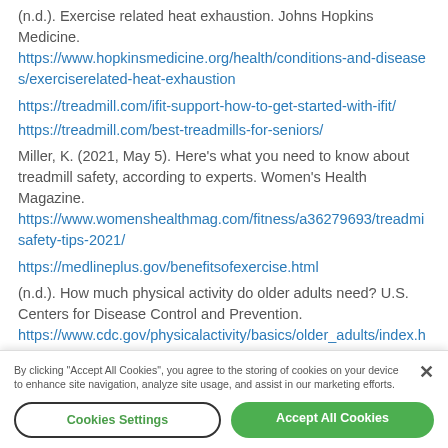(n.d.). Exercise related heat exhaustion. Johns Hopkins Medicine. https://www.hopkinsmedicine.org/health/conditions-and-diseases/exerciserelated-heat-exhaustion
https://treadmill.com/ifit-support-how-to-get-started-with-ifit/
https://treadmill.com/best-treadmills-for-seniors/
Miller, K. (2021, May 5). Here's what you need to know about treadmill safety, according to experts. Women's Health Magazine. https://www.womenshealthmag.com/fitness/a36279693/treadmill-safety-tips-2021/
https://medlineplus.gov/benefitsofexercise.html
(n.d.). How much physical activity do older adults need? U.S. Centers for Disease Control and Prevention. https://www.cdc.gov/physicalactivity/basics/older_adults/index.h
By clicking "Accept All Cookies", you agree to the storing of cookies on your device to enhance site navigation, analyze site usage, and assist in our marketing efforts.